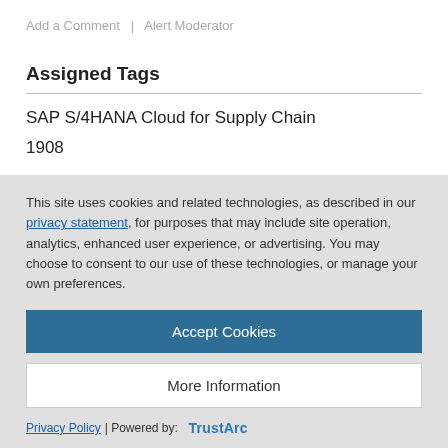Add a Comment  |  Alert Moderator
Assigned Tags
SAP S/4HANA Cloud for Supply Chain
1908
This site uses cookies and related technologies, as described in our privacy statement, for purposes that may include site operation, analytics, enhanced user experience, or advertising. You may choose to consent to our use of these technologies, or manage your own preferences.
Accept Cookies
More Information
Privacy Policy | Powered by: TrustArc